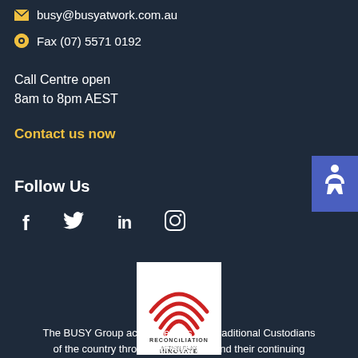busy@busyatwork.com.au
Fax (07) 5571 0192
Call Centre open
8am to 8pm AEST
Contact us now
Follow Us
[Figure (other): Social media icons: Facebook, Twitter, LinkedIn, Instagram]
[Figure (logo): Reconciliation Action Plan - Innovate logo with red rainbow arcs on white background]
The BUSY Group acknowledges the Traditional Custodians of the country throughout Australia and their continuing